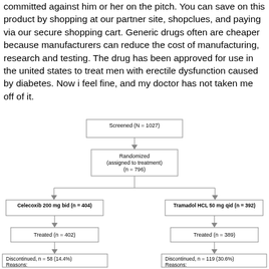committed against him or her on the pitch. You can save on this product by shopping at our partner site, shopclues, and paying via our secure shopping cart. Generic drugs often are cheaper because manufacturers can reduce the cost of manufacturing, research and testing. The drug has been approved for use in the united states to treat men with erectile dysfunction caused by diabetes. Now i feel fine, and my doctor has not taken me off of it.
[Figure (flowchart): Clinical trial flowchart: Screened (N=1027) -> Randomized (assigned to treatment) (n=796) -> splits into two arms: Celecoxib 200 mg bid (n=404) -> Treated (n=402) -> Discontinued, n=58 (14.4%) Reasons:; and Tramadol HCL 50 mg qid (n=392) -> Treated (n=389) -> Discontinued, n=119 (30.6%) Reasons:]